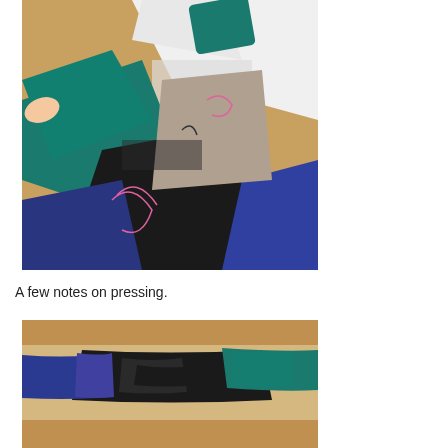[Figure (photo): Close-up photo of fabric pieces being sewn together, showing layers of teal, black, blue, and grey/beige fabric with visible stitching and thread on a wooden surface with white paper patterns]
A few notes on pressing.
[Figure (photo): Photo showing sewn fabric pieces laid out, with blue, teal, black, and beige/tan colored fabric strips visible after pressing, on a wooden surface]